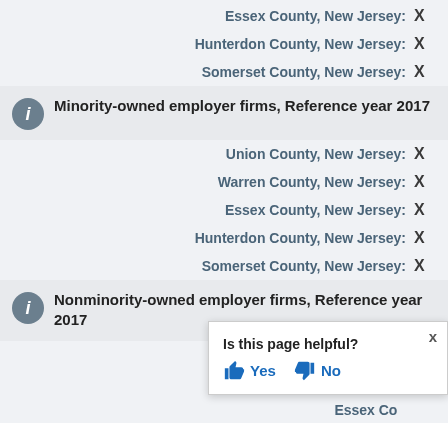Essex County, New Jersey: X
Hunterdon County, New Jersey: X
Somerset County, New Jersey: X
Minority-owned employer firms, Reference year 2017
Union County, New Jersey: X
Warren County, New Jersey: X
Essex County, New Jersey: X
Hunterdon County, New Jersey: X
Somerset County, New Jersey: X
Nonminority-owned employer firms, Reference year 2017
Union County, New Jersey: X
Warren County, New Jersey: X
Essex County, New Jersey: X
Is this page helpful? Yes No